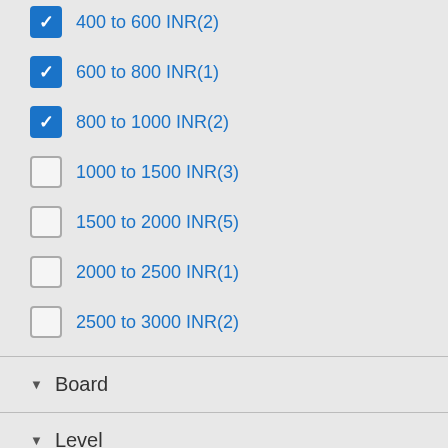400 to 600 INR(2)
600 to 800 INR(1)
800 to 1000 INR(2)
1000 to 1500 INR(3)
1500 to 2000 INR(5)
2000 to 2500 INR(1)
2500 to 3000 INR(2)
Board
Level